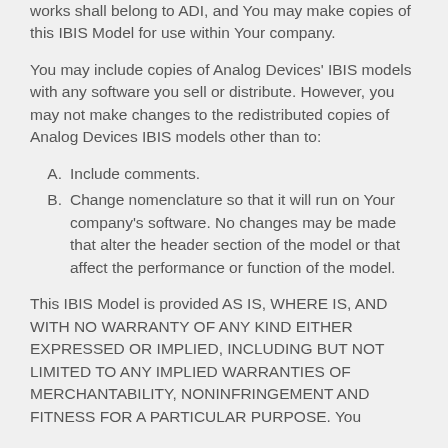works shall belong to ADI, and You may make copies of this IBIS Model for use within Your company.
You may include copies of Analog Devices' IBIS models with any software you sell or distribute. However, you may not make changes to the redistributed copies of Analog Devices IBIS models other than to:
A. Include comments.
B. Change nomenclature so that it will run on Your company's software. No changes may be made that alter the header section of the model or that affect the performance or function of the model.
This IBIS Model is provided AS IS, WHERE IS, AND WITH NO WARRANTY OF ANY KIND EITHER EXPRESSED OR IMPLIED, INCLUDING BUT NOT LIMITED TO ANY IMPLIED WARRANTIES OF MERCHANTABILITY, NONINFRINGEMENT AND FITNESS FOR A PARTICULAR PURPOSE. You